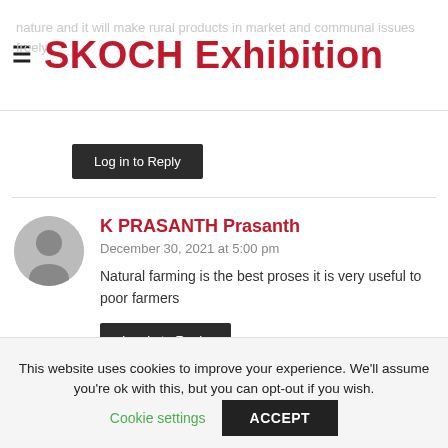SKOCH Exhibition
nature and it will make rural products in market and communal issues freely
Log in to Reply
K PRASANTH Prasanth
December 30, 2021 at 5:00 pm
Natural farming is the best proses it is very useful to poor farmers
Log in to Reply
This website uses cookies to improve your experience. We'll assume you're ok with this, but you can opt-out if you wish.
Cookie settings
ACCEPT